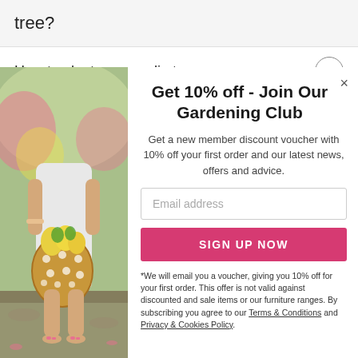tree?
How to plant a magnolia tree
[Figure (photo): Woman in white dress holding a wicker basket with yellow flowers, standing outdoors in a garden setting]
Get 10% off - Join Our Gardening Club
Get a new member discount voucher with 10% off your first order and our latest news, offers and advice.
Email address
SIGN UP NOW
*We will email you a voucher, giving you 10% off for your first order. This offer is not valid against discounted and sale items or our furniture ranges. By subscribing you agree to our Terms & Conditions and Privacy & Cookies Policy.